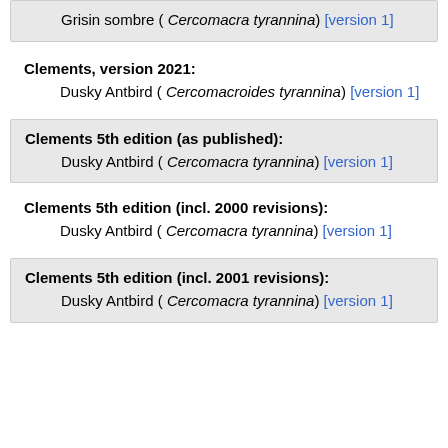Grisin sombre ( Cercomacra tyrannina) [version 1]
Clements, version 2021:
Dusky Antbird ( Cercomacroides tyrannina) [version 1]
Clements 5th edition (as published):
Dusky Antbird ( Cercomacra tyrannina) [version 1]
Clements 5th edition (incl. 2000 revisions):
Dusky Antbird ( Cercomacra tyrannina) [version 1]
Clements 5th edition (incl. 2001 revisions):
Dusky Antbird ( Cercomacra tyrannina) [version 1]